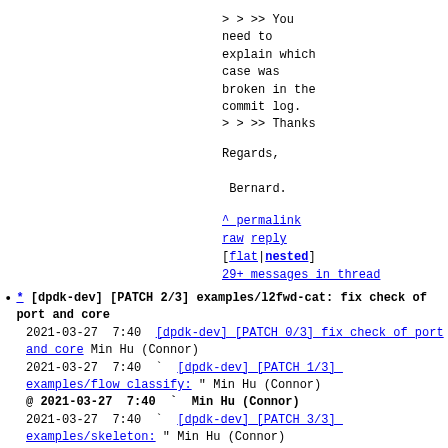> > >> You need to explain which case was broken in the commit log.
> > >> Thanks
Regards,

 Bernard.
^ permalink raw reply [flat|nested] 29+ messages in thread
* [dpdk-dev] [PATCH 2/3] examples/l2fwd-cat: fix check of port and core
2021-03-27  7:40  [dpdk-dev]_[PATCH 0/3]_fix check of port and core Min Hu (Connor)
2021-03-27  7:40  ` [dpdk-dev]_[PATCH 1/3]_ examples/flow_classify: " Min Hu (Connor)
@ 2021-03-27  7:40  ` Min Hu (Connor)
2021-03-27  7:40  ` [dpdk-dev]_[PATCH 3/3]_ examples/skeleton: " Min Hu (Connor)
` (3 subsequent siblings)
5 siblings, 0 replies; 29+ messages in thread